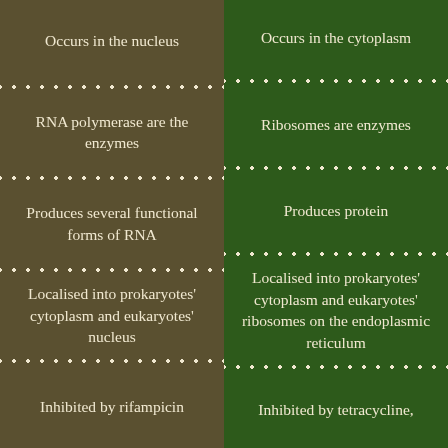| Transcription | Translation |
| --- | --- |
| Occurs in the nucleus | Occurs in the cytoplasm |
| RNA polymerase are the enzymes | Ribosomes are enzymes |
| Produces several functional forms of RNA | Produces protein |
| Localised into prokaryotes' cytoplasm and eukaryotes' nucleus | Localised into prokaryotes' cytoplasm and eukaryotes' ribosomes on the endoplasmic reticulum |
| Inhibited by rifampicin | Inhibited by tetracycline, |